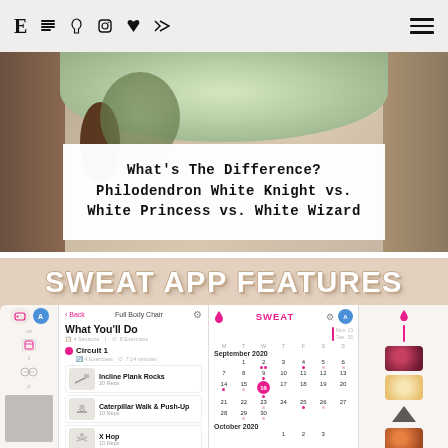Navigation bar with social/app icons and hamburger menu
[Figure (photo): Hero image of plants/garden with white overlay card containing article title]
What's The Difference? Philodendron White Knight vs. White Princess vs. White Wizard
[Figure (screenshot): Sweat App Features section showing app screenshots: workout screen with Full Body Chair exercises (Incline Plank Rocks 20 Reps, Caterpillar Walk & Push-Up 10 Reps, X Hop 10 Reps, Butt Kicks 40 Reps) and calendar screen showing September 2020 and October 2020]
SWEAT APP FEATURES